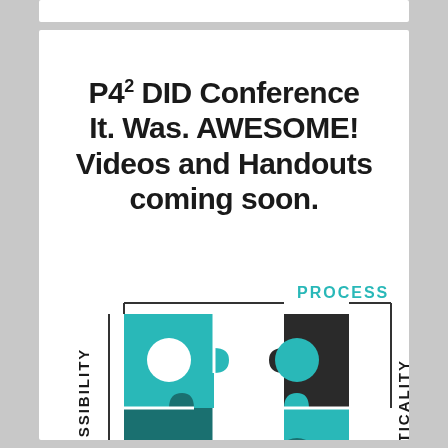P4² DID Conference It. Was. AWESOME! Videos and Handouts coming soon.
[Figure (illustration): Puzzle piece logo with four interlocking pieces in teal, dark teal, and dark/black colors. Labels around the edges: PROCESS (top, teal text), POSSIBILITY (left, vertical, black text), PRACTICALITY (right, vertical, black text). The pieces form a 2x2 grid of interlocking puzzle shapes.]